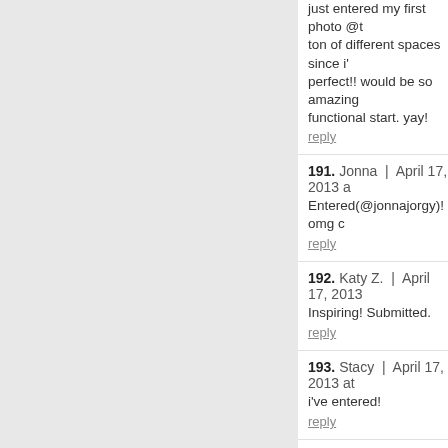190. maggie | April 17, 2013 at ... just entered my first photo @t... ton of different spaces since i'... perfect!! would be so amazing... functional start. yay!
191. Jonna | April 17, 2013 a... Entered(@jonnajorgy)! omg c...
192. Katy Z. | April 17, 2013 ... Inspiring! Submitted.
193. Stacy | April 17, 2013 at... i've entered!
194. Nikki | April 17, 2013 at... I have entered! My workspace...
195. Nicole Norman | April 17... Just entered (@nicolernoman... wishlist for so long!!
196. molly | April 17, 2013 at...